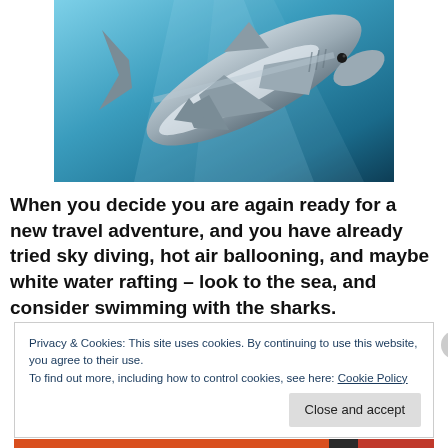[Figure (photo): Underwater photo of a shark viewed from below against a blue ocean background]
When you decide you are again ready for a new travel adventure, and you have already tried sky diving, hot air ballooning, and maybe white water rafting – look to the sea, and consider swimming with the sharks.
Privacy & Cookies: This site uses cookies. By continuing to use this website, you agree to their use.
To find out more, including how to control cookies, see here: Cookie Policy
Close and accept